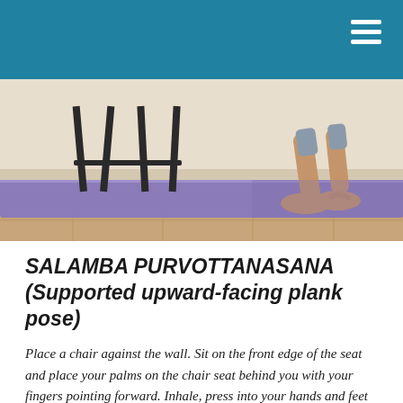[Figure (photo): A yoga mat (purple/lavender) on a wooden floor with a chair visible in the background and a person's bare feet and lower legs visible on the right side of the image.]
SALAMBA PURVOTTANASANA (Supported upward-facing plank pose)
Place a chair against the wall. Sit on the front edge of the seat and place your palms on the chair seat behind you with your fingers pointing forward. Inhale, press into your hands and feet and lift your breastbone toward your chin. Exhale and lift your pelvis upward. If this is the first time you have done this pose, keep your knees bent and your feet on the floor in a table-top position